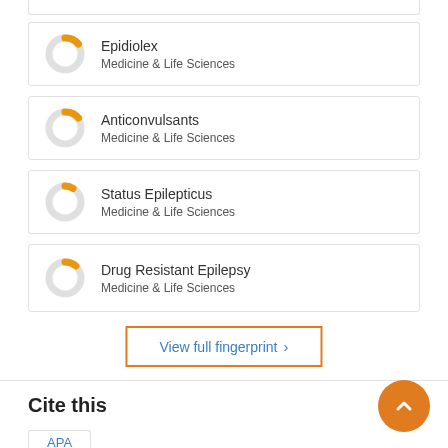[Figure (donut-chart): Partial donut chart icon showing small orange segment, Medicine & Life Sciences category]
Epidiolex
Medicine & Life Sciences
[Figure (donut-chart): Partial donut chart icon showing small orange segment, Medicine & Life Sciences category]
Anticonvulsants
Medicine & Life Sciences
[Figure (donut-chart): Partial donut chart icon showing small orange segment, Medicine & Life Sciences category]
Status Epilepticus
Medicine & Life Sciences
[Figure (donut-chart): Partial donut chart icon showing small orange segment, Medicine & Life Sciences category]
Drug Resistant Epilepsy
Medicine & Life Sciences
View full fingerprint ›
Cite this
APA